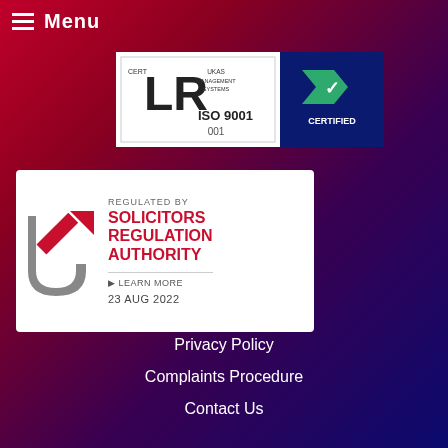Menu
[Figure (logo): ISO 9001 UKAS Management Systems certification badge with number 001]
[Figure (logo): Solicitors Regulation Authority regulated badge with Learn More link and date 23 AUG 2022]
Privacy Policy
Complaints Procedure
Contact Us